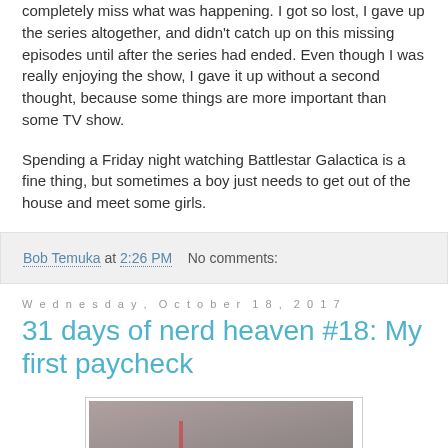completely miss what was happening. I got so lost, I gave up the series altogether, and didn't catch up on this missing episodes until after the series had ended. Even though I was really enjoying the show, I gave it up without a second thought, because some things are more important than some TV show.
Spending a Friday night watching Battlestar Galactica is a fine thing, but sometimes a boy just needs to get out of the house and meet some girls.
Bob Temuka at 2:26 PM   No comments:
Wednesday, October 18, 2017
31 days of nerd heaven #18: My first paycheck
[Figure (photo): A photo of a person, partially visible, with a dark/muted color palette]